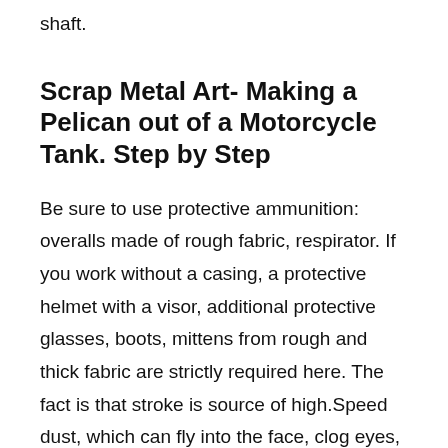shaft.
Scrap Metal Art- Making a Pelican out of a Motorcycle Tank. Step by Step
Be sure to use protective ammunition: overalls made of rough fabric, respirator. If you work without a casing, a protective helmet with a visor, additional protective glasses, boots, mittens from rough and thick fabric are strictly required here. The fact is that stroke is source of high.Speed dust, which can fly into the face, clog eyes, ears and respiratory tract. The separation of diamond particles when overheating of the disk in the stroke mode of stone and concrete can be dangerous in the form of irreversible